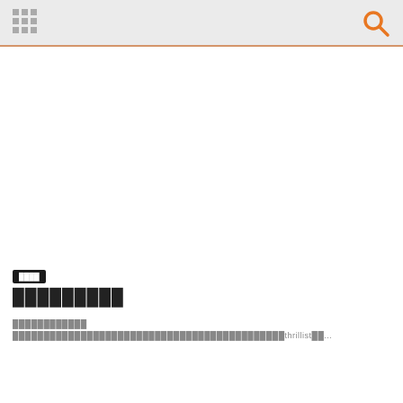████
█████████
████████████ ████████████████████████████████████████████thrillist██...